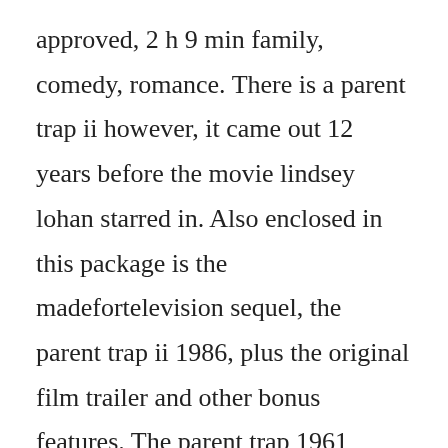approved, 2 h 9 min family, comedy, romance. There is a parent trap ii however, it came out 12 years before the movie lindsey lohan starred in. Also enclosed in this package is the madefortelevision sequel, the parent trap ii 1986, plus the original film trailer and other bonus features. The parent trap 1961 watch the parent trap 1961 online for free on 123movies. The parent trap 1961 full movie hd 1080p part 1 of 8. Hayley mills lights up the screen in disneys fondly remembered release of the parent trap. Released 1961, the